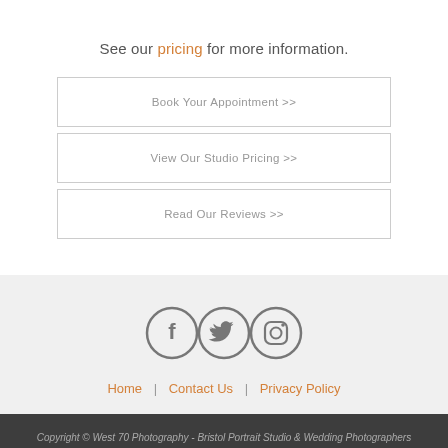See our pricing for more information.
Book Your Appointment >>
View Our Studio Pricing >>
Read Our Reviews >>
[Figure (illustration): Three social media icons in circles: Facebook (f), Twitter (bird), Instagram (camera), all in dark grey outline style]
Home | Contact Us | Privacy Policy
Copyright © West 70 Photography - Bristol Portrait Studio & Wedding Photographers